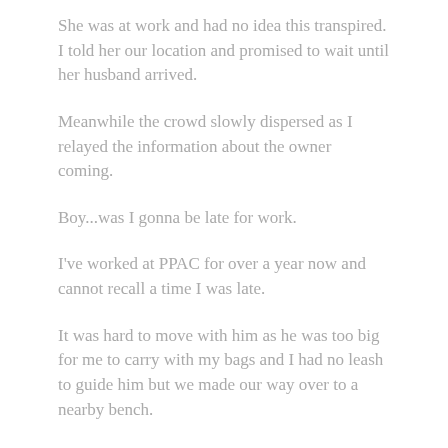She was at work and had no idea this transpired. I told her our location and promised to wait until her husband arrived.
Meanwhile the crowd slowly dispersed as I relayed the information about the owner coming.
Boy...was I gonna be late for work.
I've worked at PPAC for over a year now and cannot recall a time I was late.
It was hard to move with him as he was too big for me to carry with my bags and I had no leash to guide him but we made our way over to a nearby bench.
I heard the husband-owner  calling to Gus before seeing him as my back was turned to the side. He ran up to us and